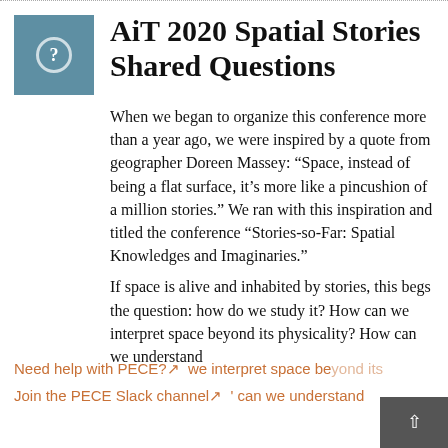AiT 2020 Spatial Stories Shared Questions
When we began to organize this conference more than a year ago, we were inspired by a quote from geographer Doreen Massey: “Space, instead of being a flat surface, it’s more like a pincushion of a million stories.” We ran with this inspiration and titled the conference “Stories-so-Far: Spatial Knowledges and Imaginaries.”
If space is alive and inhabited by stories, this begs the question: how do we study it? How can we interpret space beyond its physicality? How can we understand
Need help with PECE?
Join the PECE Slack channel